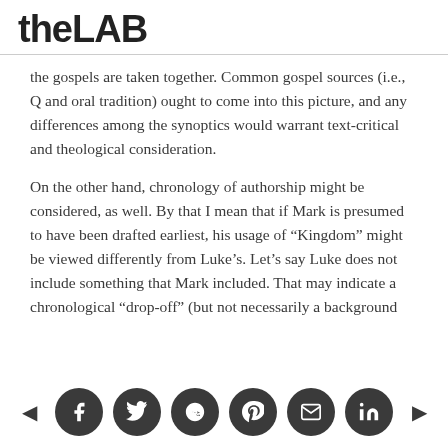theLAB
the gospels are taken together. Common gospel sources (i.e., Q and oral tradition) ought to come into this picture, and any differences among the synoptics would warrant text-critical and theological consideration.
On the other hand, chronology of authorship might be considered, as well. By that I mean that if Mark is presumed to have been drafted earliest, his usage of “Kingdom” might be viewed differently from Luke’s. Let’s say Luke does not include something that Mark included. That may indicate a chronological “drop-off” (but not necessarily a background